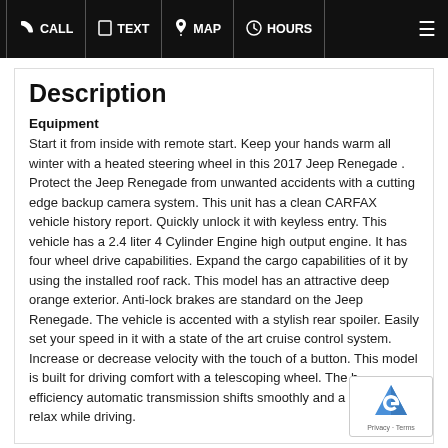CALL | TEXT | MAP | HOURS
Description
Equipment
Start it from inside with remote start. Keep your hands warm all winter with a heated steering wheel in this 2017 Jeep Renegade . Protect the Jeep Renegade from unwanted accidents with a cutting edge backup camera system. This unit has a clean CARFAX vehicle history report. Quickly unlock it with keyless entry. This vehicle has a 2.4 liter 4 Cylinder Engine high output engine. It has four wheel drive capabilities. Expand the cargo capabilities of it by using the installed roof rack. This model has an attractive deep orange exterior. Anti-lock brakes are standard on the Jeep Renegade. The vehicle is accented with a stylish rear spoiler. Easily set your speed in it with a state of the art cruise control system. Increase or decrease velocity with the touch of a button. This model is built for driving comfort with a telescoping wheel. The high efficiency automatic transmission shifts smoothly and allows you to relax while driving.